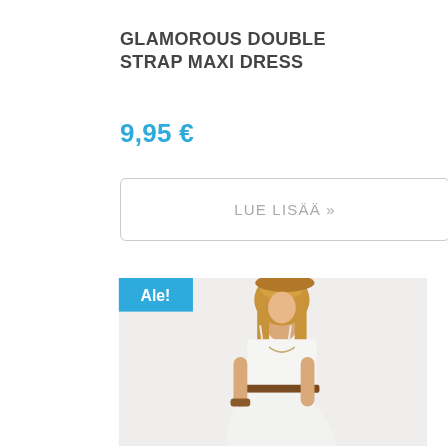GLAMOROUS DOUBLE STRAP MAXI DRESS
9,95 €
LUE LISÄÄ »
[Figure (photo): A woman wearing a white double strap maxi dress with a brown belt, blonde hair, photographed from the mid-section upward. An 'Ale!' sale badge in blue is shown in the top-left corner of the product image.]